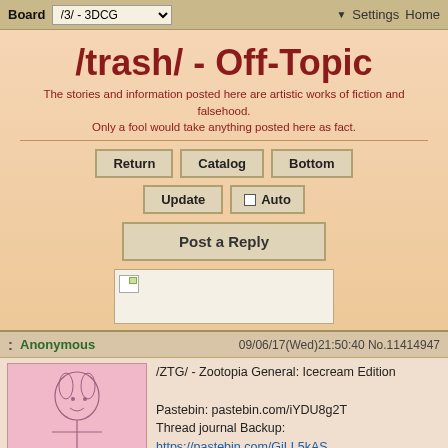Board /3/ - 3DCG  ▼ Settings  Home
/trash/ - Off-Topic
The stories and information posted here are artistic works of fiction and falsehood. Only a fool would take anything posted here as fact.
Return
Catalog
Bottom
Update
Auto
Post a Reply
[Figure (other): Image upload area with broken image icon placeholder]
Anonymous  09/06/17(Wed)21:50:40 No.11414947
[Figure (illustration): Sketch of a cartoon character (fox/rabbit from Zootopia) in pink background]
1.07 MB PNG
/ZTG/ - Zootopia General: Icecream Edition

Pastebin: pastebin.com/iYDU8g2T
Thread journal Backup:
https://pastebin.com/GiLL5kAS
ZTG Creator List: derpy.me/ztgcclist

Archives: www.ztarchive.com / desuarchive.org